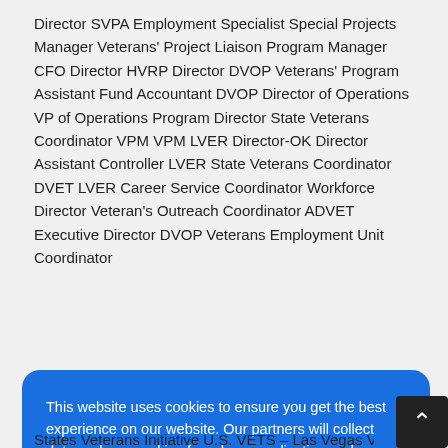Director SVPA Employment Specialist Special Projects Manager Veterans' Project Liaison Program Manager CFO Director HVRP Director DVOP Veterans' Program Assistant Fund Accountant DVOP Director of Operations VP of Operations Program Director State Veterans Coordinator VPM VPM LVER Director-OK Director Assistant Controller LVER State Veterans Coordinator DVET LVER Career Service Coordinator Workforce Director Veteran's Outreach Coordinator ADVET Executive Director DVOP Veterans Employment Unit Coordinator
[Figure (screenshot): Cookie consent dialog overlay with blue background. Text reads: 'This website uses cookies to ensure you get the best experience on our website. Our partners will collect data and use cookies for ad personalization and measurement.' with a link 'Learn how we and our partners collect and use data.' and an OK button.]
States Veterans Initiative U.S. VETS - Las Vegas Veterans Outreach